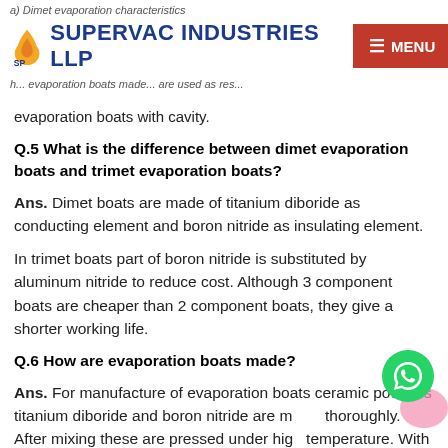a) Dimet evaporation characteristics
SUPERVAC INDUSTRIES LLP [MENU]
evaporation boats made... are used as insulation
evaporation boats with cavity.
Q.5 What is the difference between dimet evaporation boats and trimet evaporation boats?
Ans. Dimet boats are made of titanium diboride as conducting element and boron nitride as insulating element.
In trimet boats part of boron nitride is substituted by aluminum nitride to reduce cost. Although 3 component boats are cheaper than 2 component boats, they give a shorter working life.
Q.6 How are evaporation boats made?
Ans. For manufacture of evaporation boats ceramic powders titanium diboride and boron nitride are mixed thoroughly. After mixing these are pressed under high temperature. With this one gets a composite ceramic